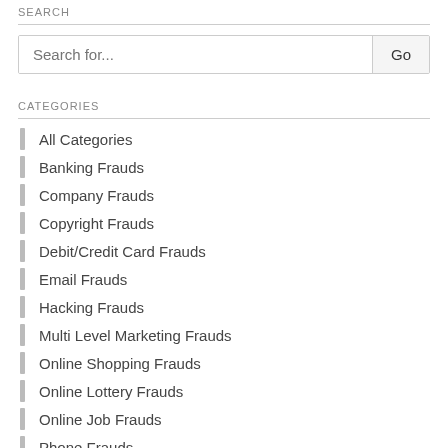SEARCH
[Figure (screenshot): Search input box with placeholder 'Search for...' and a 'Go' button]
CATEGORIES
All Categories
Banking Frauds
Company Frauds
Copyright Frauds
Debit/Credit Card Frauds
Email Frauds
Hacking Frauds
Multi Level Marketing Frauds
Online Shopping Frauds
Online Lottery Frauds
Online Job Frauds
Phone Frauds
Romance Scam Frauds
Social Network Frauds